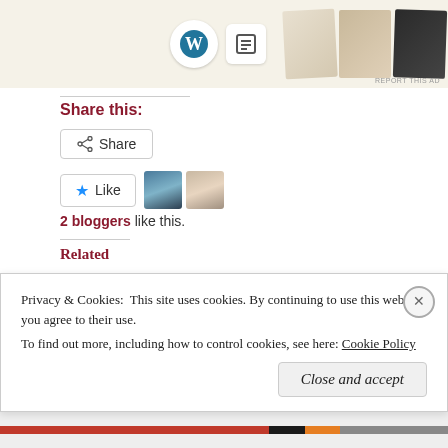[Figure (screenshot): Ad banner with WordPress logo, database icon, and food/menu images]
Share this:
[Figure (screenshot): Share button with share icon]
[Figure (screenshot): Like button with star icon and two blogger avatars]
2 bloggers like this.
Related
Life on the Screen
September 18, 2013
Critical Mass
June 10, 2013
Privacy & Cookies:  This site uses cookies. By continuing to use this website, you agree to their use. To find out more, including how to control cookies, see here: Cookie Policy
Close and accept